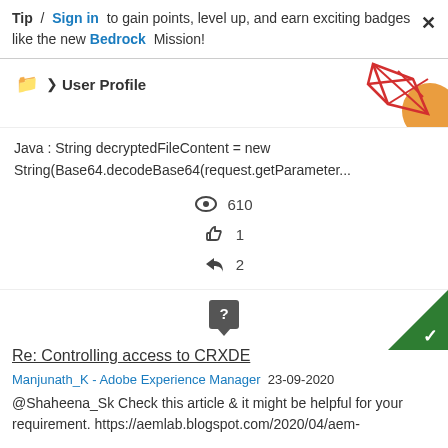Tip / Sign in to gain points, level up, and earn exciting badges like the new Bedrock Mission!
📁 > User Profile
[Figure (illustration): Decorative geometric red line art with orange circle shapes in the top-right corner]
Java : String decryptedFileContent = new String(Base64.decodeBase64(request.getParameter...
👁 610
👍 1
↩ 2
[Figure (illustration): Green corner triangle with white checkmark (answered badge), and a grey question speech bubble icon]
Re: Controlling access to CRXDE
Manjunath_K - Adobe Experience Manager  23-09-2020
@Shaheena_Sk Check this article & it might be helpful for your requirement. https://aemlab.blogspot.com/2020/04/aem-